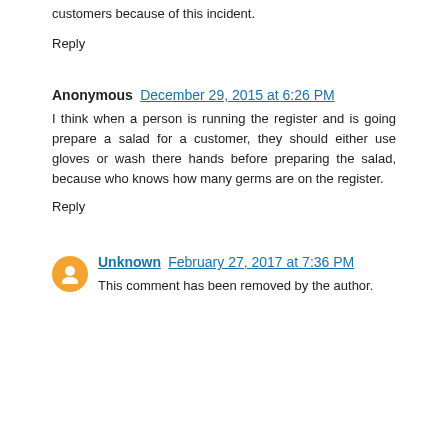customers because of this incident.
Reply
Anonymous December 29, 2015 at 6:26 PM
I think when a person is running the register and is going prepare a salad for a customer, they should either use gloves or wash there hands before preparing the salad, because who knows how many germs are on the register.
Reply
Unknown February 27, 2017 at 7:36 PM
This comment has been removed by the author.